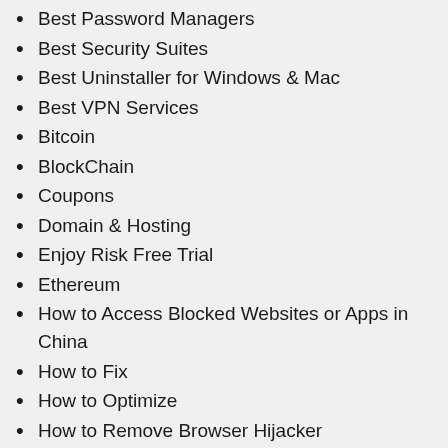Best Password Managers
Best Security Suites
Best Uninstaller for Windows & Mac
Best VPN Services
Bitcoin
BlockChain
Coupons
Domain & Hosting
Enjoy Risk Free Trial
Ethereum
How to Access Blocked Websites or Apps in China
How to Fix
How to Optimize
How to Remove Browser Hijacker
How To Remove Malware
How to set up VPN
How to Uninstall